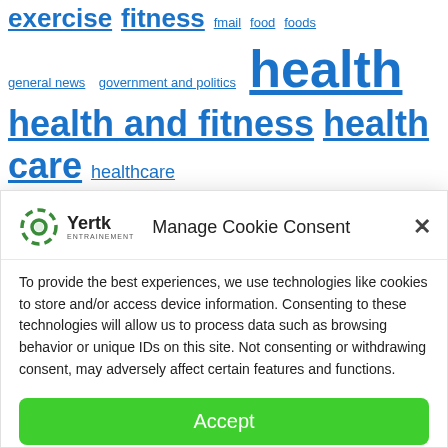exercise  fitness  fmail  food  foods  general news  government and politics  health  health and fitness  health care  healthcare  health insurance  healthy  Infectious diseases  insurance  Joe Biden  legislation  lifestyle  Medicaid  Medicare  mental health  news  nutrition  people
Manage Cookie Consent
To provide the best experiences, we use technologies like cookies to store and/or access device information. Consenting to these technologies will allow us to process data such as browsing behavior or unique IDs on this site. Not consenting or withdrawing consent, may adversely affect certain features and functions.
Accept